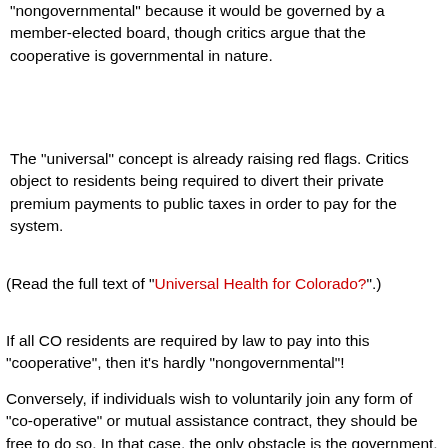"nongovernmental" because it would be governed by a member-elected board, though critics argue that the cooperative is governmental in nature.
The "universal" concept is already raising red flags. Critics object to residents being required to divert their private premium payments to public taxes in order to pay for the system.
(Read the full text of "Universal Health for Colorado?" .)
If all CO residents are required by law to pay into this "cooperative", then it's hardly "nongovernmental"!
Conversely, if individuals wish to voluntarily join any form of "co-operative" or mutual assistance contract, they should be free to do so. In that case, the only obstacle is the government, in the form of state insurance laws which typically treat such cooperatives as "insurance companies" and thus subject to numerous state mandates. But if the government would get out of the way, individuals would be free to form a co-operative and insist their colleagues do the same.